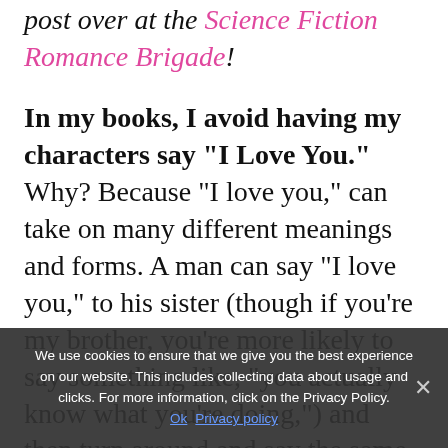post over at the Science Fiction Romance Brigade!
In my books, I avoid having my characters say “I Love You.” Why? Because “I love you,” can take on many different meanings and forms. A man can say “I love you,” to his sister (though if you’re my brother, you’re more likely to say something like, “you actually know what you’re doing,”) and then turn around and say the same words to his girlfriend. Most likely (though
We use cookies to ensure that we give you the best experience on our website. This includes collecting data about usage and clicks. For more information, click on the Privacy Policy.